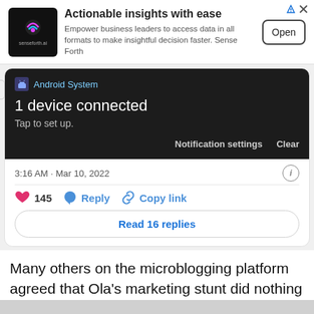[Figure (screenshot): Advertisement banner for senseforth.ai with logo, headline 'Actionable insights with ease', body text about empowering business leaders, and an Open button]
[Figure (screenshot): Android System notification screenshot showing '1 device connected. Tap to set up.' with Notification settings and Clear buttons on dark background]
3:16 AM · Mar 10, 2022
145  Reply  Copy link
Read 16 replies
Many others on the microblogging platform agreed that Ola's marketing stunt did nothing but cause fear.